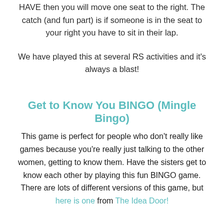HAVE then you will move one seat to the right. The catch (and fun part) is if someone is in the seat to your right you have to sit in their lap.
We have played this at several RS activities and it's always a blast!
Get to Know You BINGO (Mingle Bingo)
This game is perfect for people who don't really like games because you're really just talking to the other women, getting to know them. Have the sisters get to know each other by playing this fun BINGO game. There are lots of different versions of this game, but here is one from The Idea Door!